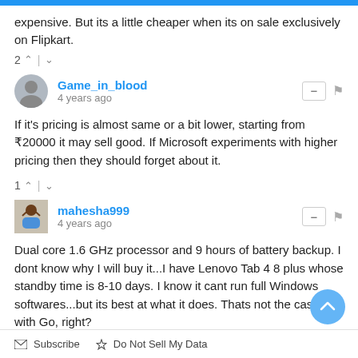expensive. But its a little cheaper when its on sale exclusively on Flipkart.
2 ↑ | ↓
Game_in_blood
4 years ago
If it's pricing is almost same or a bit lower, starting from ₹20000 it may sell good. If Microsoft experiments with higher pricing then they should forget about it.
1 ↑ | ↓
mahesha999
4 years ago
Dual core 1.6 GHz processor and 9 hours of battery backup. I dont know why I will buy it...I have Lenovo Tab 4 8 plus whose standby time is 8-10 days. I know it cant run full Windows softwares...but its best at what it does. Thats not the case with Go, right?
↑ | ↓
Subscribe   Do Not Sell My Data